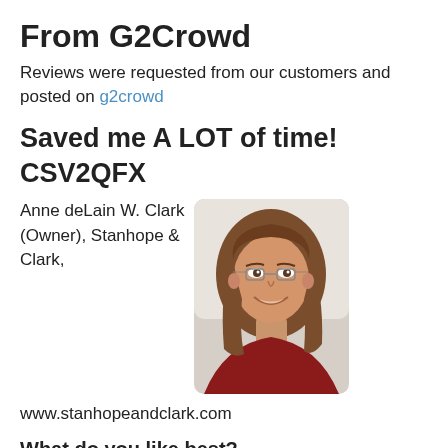From G2Crowd
Reviews were requested from our customers and posted on g2crowd
Saved me A LOT of time!
CSV2QFX
Anne deLain W. Clark (Owner), Stanhope & Clark,
[Figure (photo): Portrait photo of Anne deLain W. Clark, a woman with long brown hair and glasses, smiling, wearing a red top, against a light background.]
www.stanhopeandclark.com
What do you like best?
Being able to convert downloaded financial